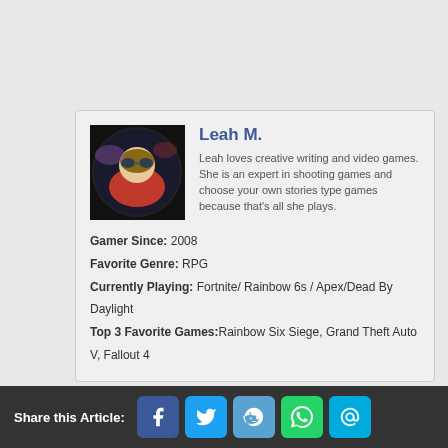[Figure (photo): Circular avatar image of a video game character on a dark background]
Leah M.
Leah loves creative writing and video games. She is an expert in shooting games and choose your own stories type games because that's all she plays.
Gamer Since: 2008
Favorite Genre: RPG
Currently Playing: Fortnite/ Rainbow 6s / Apex/Dead By Daylight
Top 3 Favorite Games:Rainbow Six Siege, Grand Theft Auto V, Fallout 4
Share this Article: